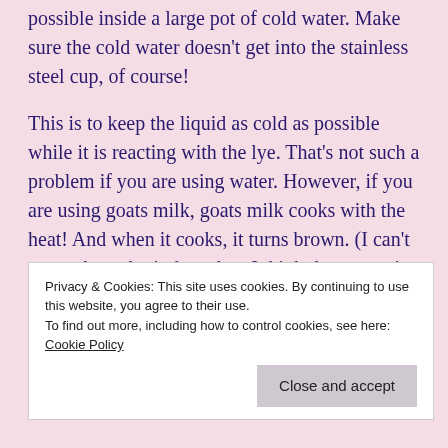possible inside a large pot of cold water. Make sure the cold water doesn't get into the stainless steel cup, of course!
This is to keep the liquid as cold as possible while it is reacting with the lye. That's not such a problem if you are using water. However, if you are using goats milk, goats milk cooks with the heat! And when it cooks, it turns brown. (I can't remember why it does that, I think the sugars in it caramelize or something.)
So the cooler the goats milk remains, the less it browns.
Privacy & Cookies: This site uses cookies. By continuing to use this website, you agree to their use.
To find out more, including how to control cookies, see here: Cookie Policy
Close and accept